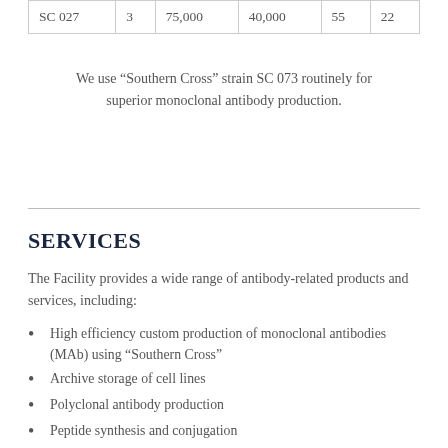| SC 027 | 3 | 75,000 | 40,000 | 55 | 22 |
We use “Southern Cross” strain SC 073 routinely for superior monoclonal antibody production.
SERVICES
The Facility provides a wide range of antibody-related products and services, including:
High efficiency custom production of monoclonal antibodies (MAb) using “Southern Cross”
Archive storage of cell lines
Polyclonal antibody production
Peptide synthesis and conjugation
In vitro production of MAbs in Bioreactors
Purification, conjugation and fragmentation of MAbs